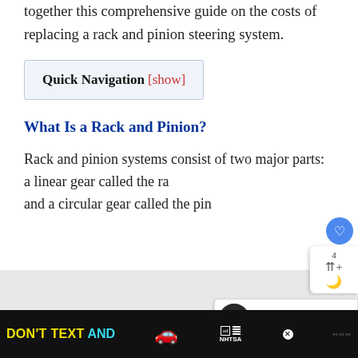together this comprehensive guide on the costs of replacing a rack and pinion steering system.
Quick Navigation [show]
What Is a Rack and Pinion?
Rack and pinion systems consist of two major parts: a linear gear called the ra... and a circular gear called the pin...
[Figure (screenshot): Ad banner at bottom: DON'T TEXT AND [car emoji], with NHTSA branding on black background]